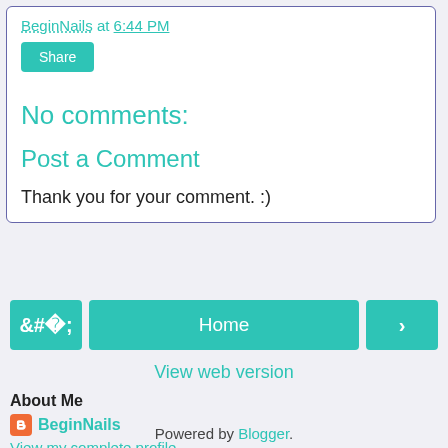BeginNails at 6:44 PM
Share
No comments:
Post a Comment
Thank you for your comment. :)
< Home >
View web version
About Me
BeginNails
View my complete profile
Powered by Blogger.